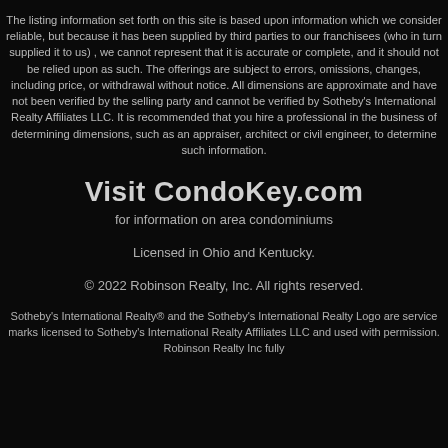The listing information set forth on this site is based upon information which we consider reliable, but because it has been supplied by third parties to our franchisees (who in turn supplied it to us) , we cannot represent that it is accurate or complete, and it should not be relied upon as such. The offerings are subject to errors, omissions, changes, including price, or withdrawal without notice. All dimensions are approximate and have not been verified by the selling party and cannot be verified by Sotheby's International Realty Affiliates LLC. It is recommended that you hire a professional in the business of determining dimensions, such as an appraiser, architect or civil engineer, to determine such information.
Visit CondoKey.com
for information on area condominiums
Licensed in Ohio and Kentucky.
© 2022 Robinson Realty, Inc. All rights reserved.
Sotheby's International Realty® and the Sotheby's International Realty Logo are service marks licensed to Sotheby's International Realty Affiliates LLC and used with permission. Robinson Realty Inc fully